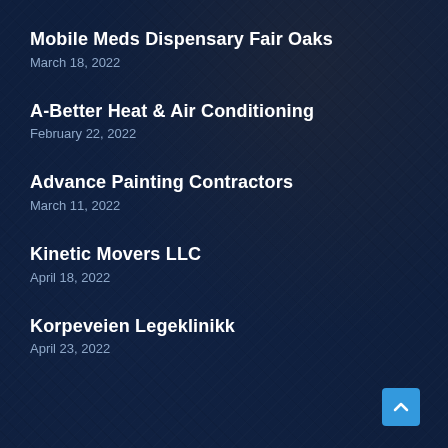Mobile Meds Dispensary Fair Oaks
March 18, 2022
A-Better Heat & Air Conditioning
February 22, 2022
Advance Painting Contractors
March 11, 2022
Kinetic Movers LLC
April 18, 2022
Korpeveien Legeklinikk
April 23, 2022